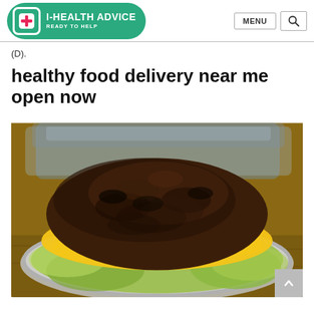I-HEALTH ADVICE READY TO HELP
(D).
healthy food delivery near me open now
[Figure (photo): Close-up photo of a burger patty covered with melted yellow cheese, served in a foil tray with lettuce, on a wooden surface.]